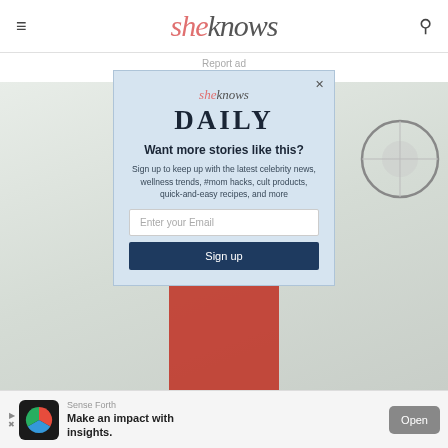sheknows
Report ad
[Figure (photo): Background image of person in red dress with circular graphic elements]
sheknows DAILY
Want more stories like this?
Sign up to keep up with the latest celebrity news, wellness trends, #mom hacks, cult products, quick-and-easy recipes, and more
Enter your Email
Sign up
Sense Forth
Make an impact with insights.
Open